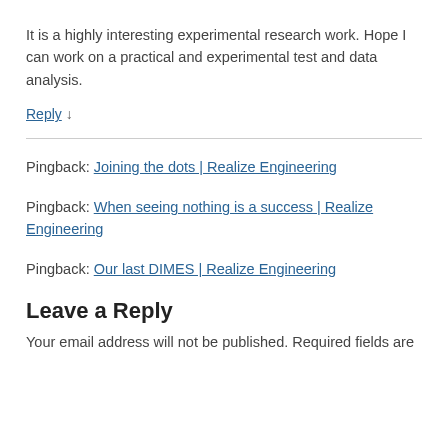It is a highly interesting experimental research work. Hope I can work on a practical and experimental test and data analysis.
Reply ↓
Pingback: Joining the dots | Realize Engineering
Pingback: When seeing nothing is a success | Realize Engineering
Pingback: Our last DIMES | Realize Engineering
Leave a Reply
Your email address will not be published. Required fields are